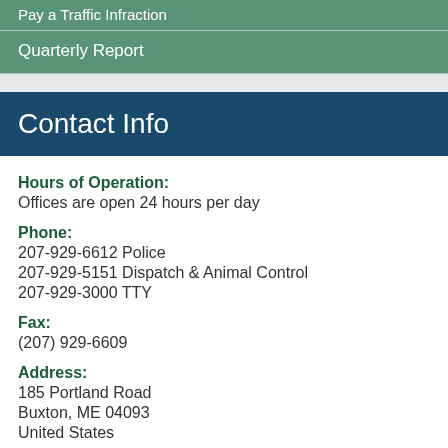Pay a Traffic Infraction
Quarterly Report
Contact Info
Hours of Operation: Offices are open 24 hours per day
Phone: 207-929-6612 Police
207-929-5151 Dispatch & Animal Control
207-929-3000 TTY
Fax: (207) 929-6609
Address: 185 Portland Road
Buxton, ME 04093
United States